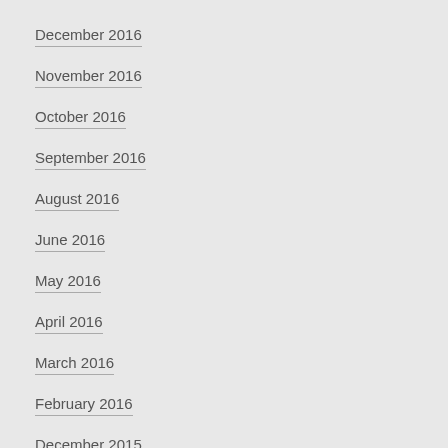December 2016
November 2016
October 2016
September 2016
August 2016
June 2016
May 2016
April 2016
March 2016
February 2016
December 2015
June 2015
May 2015
December 2014